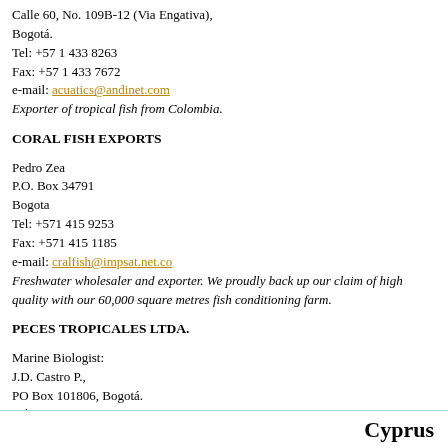Calle 60, No. 109B-12 (Via Engativa), Bogotá.
Tel: +57 1 433 8263
Fax: +57 1 433 7672
e-mail: acuatics@andinet.com
Exporter of tropical fish from Colombia.
CORAL FISH EXPORTS
Pedro Zea
P.O. Box 34791
Bogota
Tel: +571 415 9253
Fax: +571 415 1185
e-mail: cralfish@impsat.net.co
Freshwater wholesaler and exporter. We proudly back up our claim of high quality with our 60,000 square metres fish conditioning farm.
PECES TROPICALES LTDA.
Marine Biologist:
J.D. Castro P.,
PO Box 101806, Bogotá.
Tel: +57 1 2676721
Fax: +57 1 4154942
e-mail: pecest@inter.net.co
Web: www.inter.net.co/pecest
Ornamental tropical fish, coldwater fish, aquatic plants, baby Boas and Green Iguanas from breeder, with CITES.
Cyprus